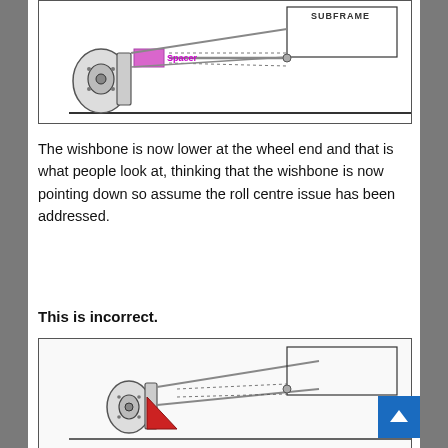[Figure (engineering-diagram): Engineering diagram showing a vehicle suspension wishbone with a pink/magenta spacer block highlighted, connected to a subframe via a control arm. Labels: 'Spacer' (in pink) and 'SUBFRAME' (top right). Dotted lines indicate subframe connection. The ground line is shown at the bottom.]
The wishbone is now lower at the wheel end and that is what people look at, thinking that the wishbone is now pointing down so assume the roll centre issue has been addressed.
This is incorrect.
[Figure (engineering-diagram): Engineering diagram showing a vehicle suspension system with a red triangular element highlighted near the wheel hub/upright area, connected to control arms.]